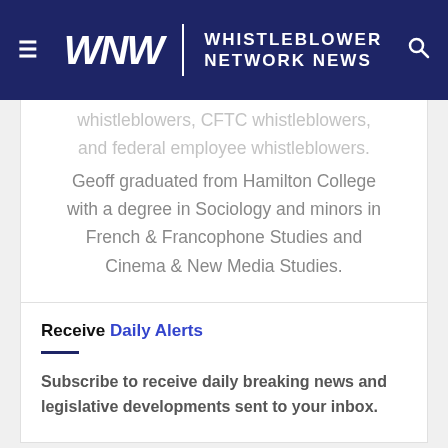WNN | WHISTLEBLOWER NETWORK NEWS
whistleblowers, CFTC whistleblowers, and federal employee whistleblowers. Geoff graduated from Hamilton College with a degree in Sociology and minors in French & Francophone Studies and Cinema & New Media Studies.
Receive Daily Alerts
Subscribe to receive daily breaking news and legislative developments sent to your inbox.